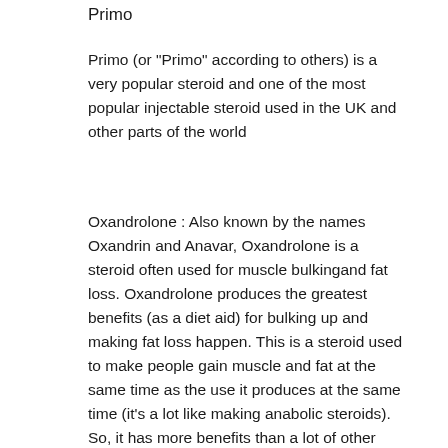Primo
Primo (or "Primo" according to others) is a very popular steroid and one of the most popular injectable steroid used in the UK and other parts of the world
Oxandrolone : Also known by the names Oxandrin and Anavar, Oxandrolone is a steroid often used for muscle bulkingand fat loss. Oxandrolone produces the greatest benefits (as a diet aid) for bulking up and making fat loss happen. This is a steroid used to make people gain muscle and fat at the same time as the use it produces at the same time (it's a lot like making anabolic steroids). So, it has more benefits than a lot of other steroid's used for fat loss.